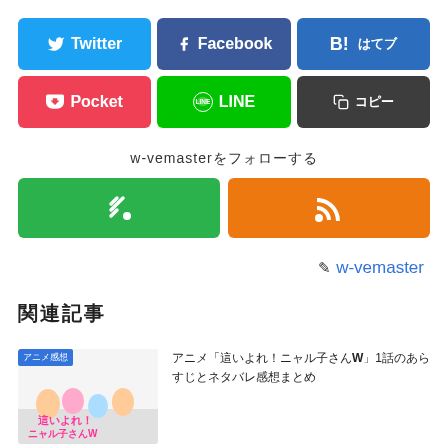[Figure (infographic): Social share buttons row 1: Twitter (blue), Facebook (dark blue), B! hatena bookmark (blue)]
[Figure (infographic): Social share buttons row 2: Pocket (red), LINE (green), copy button (dark grey)]
w-vemaster（著者フォロー）
[Figure (infographic): Follow buttons: Feedly (green with diamond icon), RSS (orange with wifi/rss icon)]
✎ w-vemaster
関連記事
[Figure (photo): Anime thumbnail - Haiyore! Nyaruko-san W anime cover art]
アニメ「這いよれ！ニャル子さんW」1話のあらすじとネタバレ感想まとめ